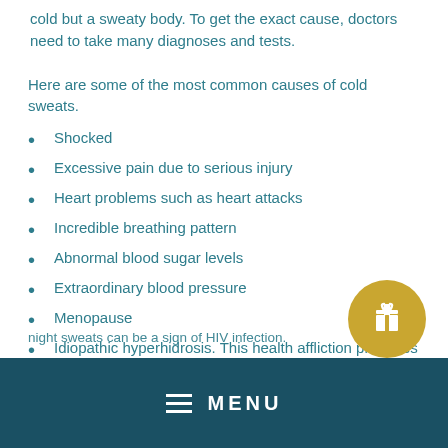cold but a sweaty body. To get the exact cause, doctors need to take many diagnoses and tests.
Here are some of the most common causes of cold sweats.
Shocked
Excessive pain due to serious injury
Heart problems such as heart attacks
Incredible breathing pattern
Abnormal blood sugar levels
Extraordinary blood pressure
Menopause
Idiopathic hyperhidrosis. This health affliction produces a lot of sweat for unexplained reasons.
Bacterial infections such as tuberculosis
[Figure (other): Gift/reward badge icon — gold circular button with a gift box icon]
MENU
night sweats can be a sign of HIV infection.
Those in the early stages of cancer may